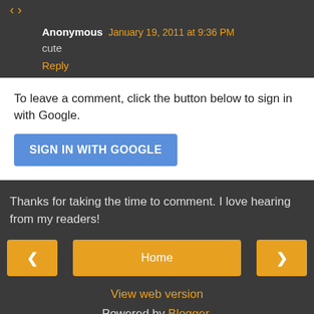Anonymous January 19, 2011 at 9:36 PM
cute
Reply
To leave a comment, click the button below to sign in with Google.
SIGN IN WITH GOOGLE
Thanks for taking the time to comment. I love hearing from my readers!
Home
View web version
Powered by Blogger.